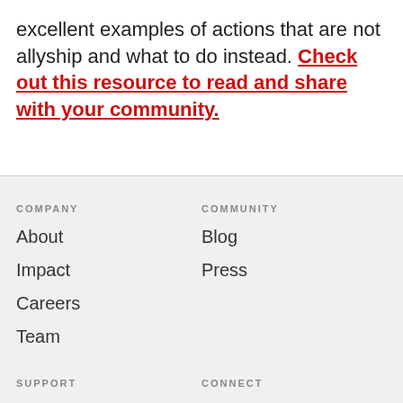excellent examples of actions that are not allyship and what to do instead. Check out this resource to read and share with your community.
COMPANY
About
Impact
Careers
Team
COMMUNITY
Blog
Press
SUPPORT
CONNECT